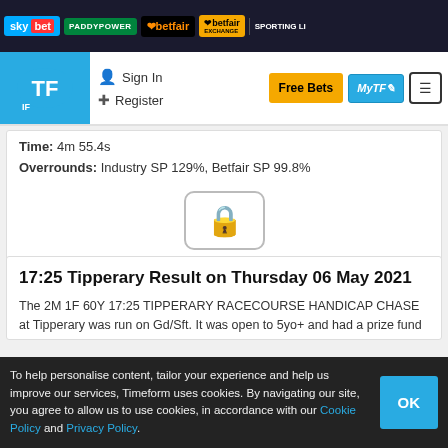sky bet | PADDYPOWER | betfair | betfair EXCHANGE | SPORTING LI...
[Figure (screenshot): Timeform website navigation bar with logo, Sign In, Register, Free Bets, MyTF, and menu buttons]
Time: 4m 55.4s
Overrounds: Industry SP 129%, Betfair SP 99.8%
[Figure (illustration): Padlock icon indicating locked/premium content]
17:25 Tipperary Result on Thursday 06 May 2021
The 2M 1F 60Y 17:25 TIPPERARY RACECOURSE HANDICAP CHASE at Tipperary was run on Gd/Sft. It was open to 5yo+ and had a prize fund of €11,000. There were 16 runners. The winning horse was GIVE ME A MOMENT (IRE) who won by 2. GIVE ME A MOMENT (IRE) was ridden by A. W. Short. GIVE ME A MOMENT (IRE) had an industry starting price (ISP) of 33/1.
How the rest of the runners fared:
To help personalise content, tailor your experience and help us improve our services, Timeform uses cookies. By navigating our site, you agree to allow us to use cookies, in accordance with our Cookie Policy and Privacy Policy.